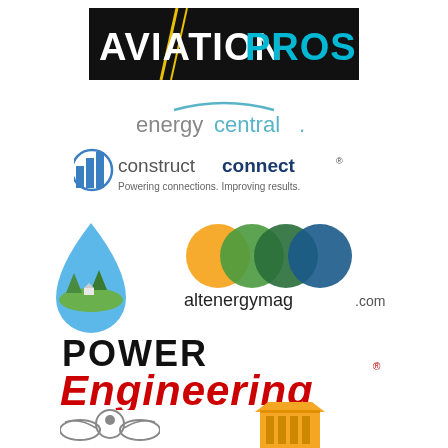[Figure (logo): AviationPros logo - white bold text on black background with yellow lightning bolt]
[Figure (logo): energycentral logo - teal/blue arc above text in gray and teal]
[Figure (logo): constructconnect logo with blue building icon and tagline Powering connections. Improving results.]
[Figure (logo): Water drop / green tree landscape logo on left side]
[Figure (logo): altenergymag.com logo with orange, green, dark green, and blue overlapping circles]
[Figure (logo): POWER Engineering logo - POWER in black bold, Engineering in red bold italic with registered trademark]
[Figure (logo): Winged figure logo at bottom left, partially visible]
[Figure (logo): Orange building/institution logo at bottom right, partially visible]